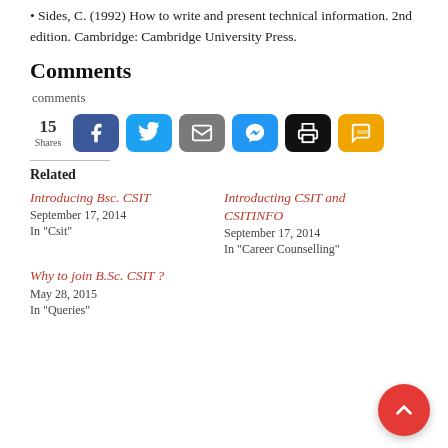• Sides, C. (1992) How to write and present technical information. 2nd edition. Cambridge: Cambridge University Press.
Comments
comments
[Figure (infographic): Social share buttons row showing 15 Shares with Facebook (blue), Twitter (light blue), Email (grey), Messenger (blue), Print (black), and SMS (yellow/gold) buttons]
Related
Introducing Bsc. CSIT
September 17, 2014
In "Csit"
Introducting CSIT and CSITINFO
September 17, 2014
In "Career Counselling"
Why to join B.Sc. CSIT ?
May 28, 2015
In "Queries"